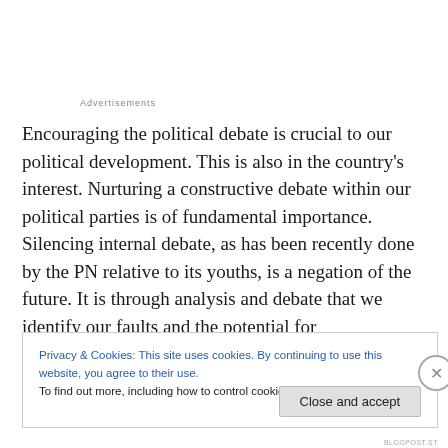Advertisements
Encouraging the political debate is crucial to our political development. This is also in the country's interest. Nurturing a constructive debate within our political parties is of fundamental importance. Silencing internal debate, as has been recently done by the PN relative to its youths, is a negation of the future. It is through analysis and debate that we identify our faults and the potential for
Privacy & Cookies: This site uses cookies. By continuing to use this website, you agree to their use.
To find out more, including how to control cookies, see here: Cookie Policy
Close and accept